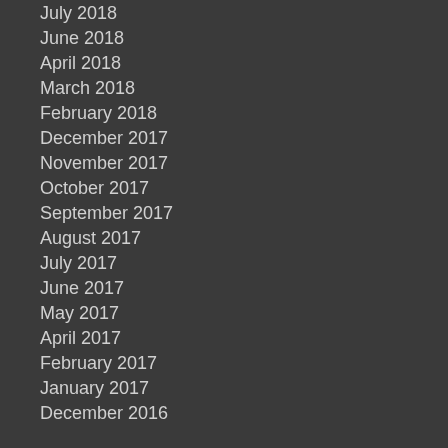July 2018
June 2018
April 2018
March 2018
February 2018
December 2017
November 2017
October 2017
September 2017
August 2017
July 2017
June 2017
May 2017
April 2017
February 2017
January 2017
December 2016